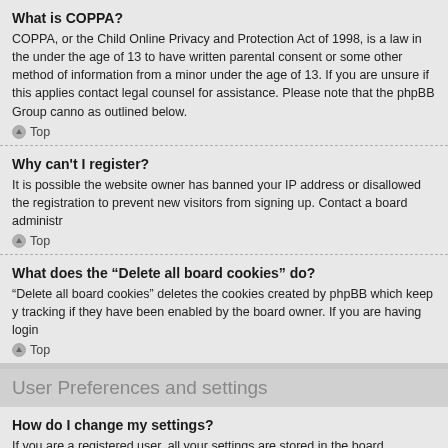What is COPPA?
COPPA, or the Child Online Privacy and Protection Act of 1998, is a law in the under the age of 13 to have written parental consent or some other method of information from a minor under the age of 13. If you are unsure if this applies contact legal counsel for assistance. Please note that the phpBB Group canno as outlined below.
Top
Why can’t I register?
It is possible the website owner has banned your IP address or disallowed the registration to prevent new visitors from signing up. Contact a board administr
Top
What does the “Delete all board cookies” do?
“Delete all board cookies” deletes the cookies created by phpBB which keep y tracking if they have been enabled by the board owner. If you are having login
Top
User Preferences and settings
How do I change my settings?
If you are a registered user, all your settings are stored in the board database. board pages. This system will allow you to change all your settings and prefer
Top